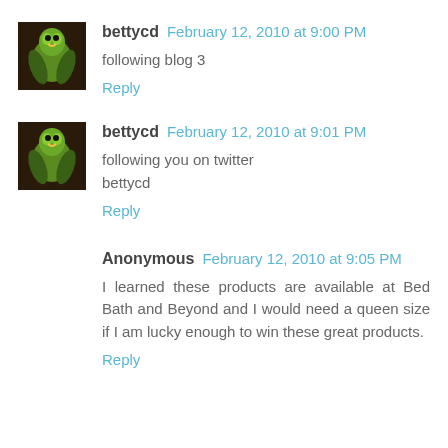[Figure (photo): Small square avatar photo of a green parrot/parakeet held in a hand, dark background]
bettycd February 12, 2010 at 9:00 PM
following blog 3
Reply
[Figure (photo): Small square avatar photo of a green parrot/parakeet held in a hand, dark background]
bettycd February 12, 2010 at 9:01 PM
following you on twitter
bettycd
Reply
Anonymous February 12, 2010 at 9:05 PM
I learned these products are available at Bed Bath and Beyond and I would need a queen size if I am lucky enough to win these great products.
Reply